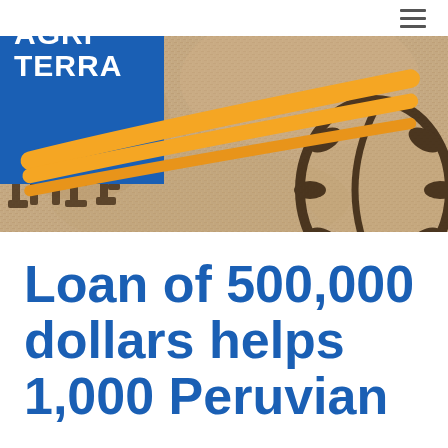AGRI TERRA (logo with hamburger menu)
[Figure (photo): Close-up photo of burlap coffee sacks with dark stenciled coffee bean logo marks stamped on the fabric]
Loan of 500,000 dollars helps 1,000 Peruvian